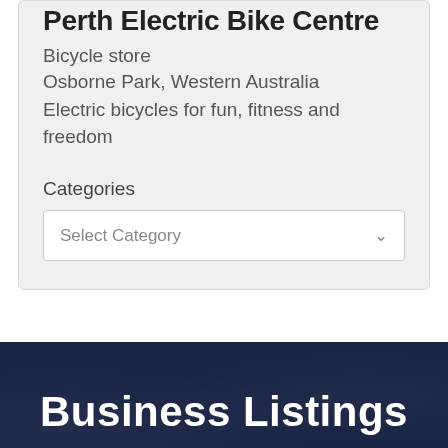Perth Electric Bike Centre
Bicycle store
Osborne Park, Western Australia
Electric bicycles for fun, fitness and freedom
Categories
Select Category
Business Listings